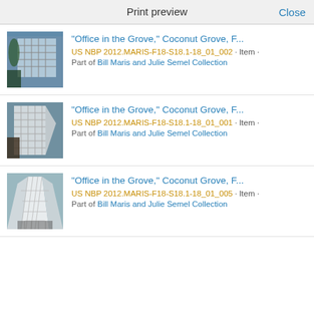Print preview  Close
"Office in the Grove," Coconut Grove, F...
US NBP 2012.MARIS-F18-S18.1-18_01_002 · Item · Part of Bill Maris and Julie Semel Collection
"Office in the Grove," Coconut Grove, F...
US NBP 2012.MARIS-F18-S18.1-18_01_001 · Item · Part of Bill Maris and Julie Semel Collection
"Office in the Grove," Coconut Grove, F...
US NBP 2012.MARIS-F18-S18.1-18_01_005 · Item · Part of Bill Maris and Julie Semel Collection